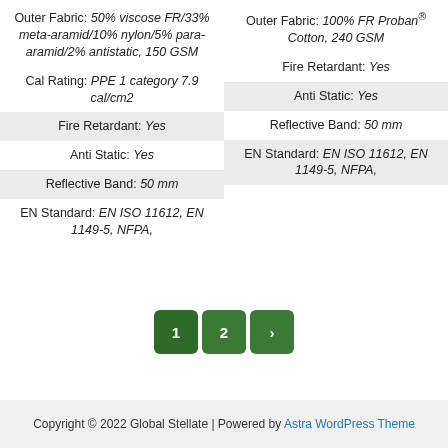Outer Fabric: 50% viscose FR/33% meta-aramid/10% nylon/5% para-aramid/2% antistatic, 150 GSM
Outer Fabric: 100% FR Proban® Cotton, 240 GSM
Cal Rating: PPE 1 category 7.9 cal/cm2
Fire Retardant: Yes
Fire Retardant: Yes
Anti Static: Yes
Anti Static: Yes
Reflective Band: 50 mm
Reflective Band: 50 mm
EN Standard: EN ISO 11612, EN 1149-5, NFPA,
EN Standard: EN ISO 11612, EN 1149-5, NFPA,
[Figure (infographic): Pagination buttons: 1, 2, and a right-arrow next button, all styled in dark green rounded rectangles]
Copyright © 2022 Global Stellate | Powered by Astra WordPress Theme